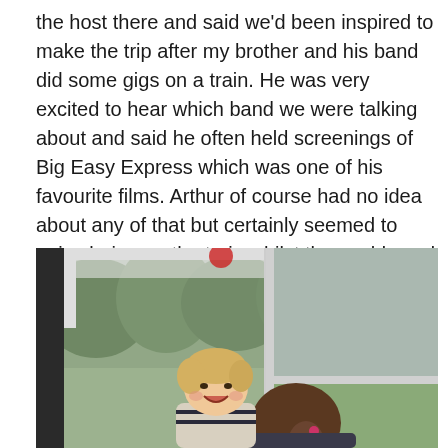the host there and said we'd been inspired to make the trip after my brother and his band did some gigs on a train. He was very excited to hear which band we were talking about and said he often held screenings of Big Easy Express which was one of his favourite films. Arthur of course had no idea about any of that but certainly seemed to enjoy being on the train whilst the world sped by outside the windows.
[Figure (photo): A young toddler with blonde hair laughing/smiling on a train, being held by a woman with a brown ponytail. Large train windows show green forested scenery outside.]